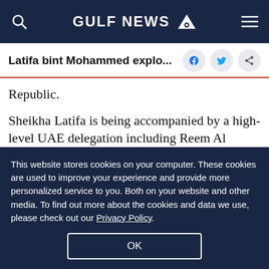GULF NEWS
Latifa bint Mohammed explo...
Republic.
Sheikha Latifa is being accompanied by a high-level UAE delegation including Reem Al Hashimy, UAE Minister of State for International Cooperation, and Hala Badri, Director General of Dubai Culture, as well as officials from the cultural sector in the UAE
This website stores cookies on your computer. These cookies are used to improve your experience and provide more personalized service to you. Both on your website and other media. To find out more about the cookies and data we use, please check out our Privacy Policy.